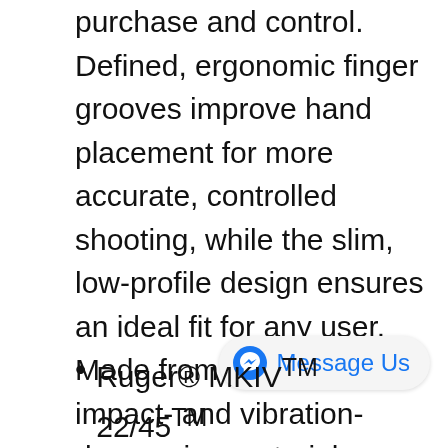purchase and control. Defined, ergonomic finger grooves improve hand placement for more accurate, controlled shooting, while the slim, low-profile design ensures an ideal fit for any user. Made from patented impact- and vibration-dampening material, Ruger® MKIV™ 22/45™ "hiveGrips" are an ideal upgrade for any shooting sports competitor. These wrap-around grips are easy to install and remove for cleaning and firearms maintenance. Get a grip on your Ruger® MKIV™ 22/45™ with the new "hiveGrips" from TANDEMKROSS! #swarmthehive Supported Models:
[Figure (other): Facebook Messenger 'Message Us' button]
Ruger® MKIV™ 22/45™